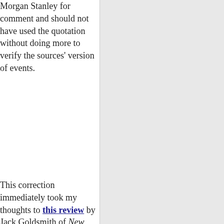Morgan Stanley for comment and should not have used the quotation without doing more to verify the sources' version of events.
This correction immediately took my thoughts to this review by Jack Goldsmith of New York Times' reporter